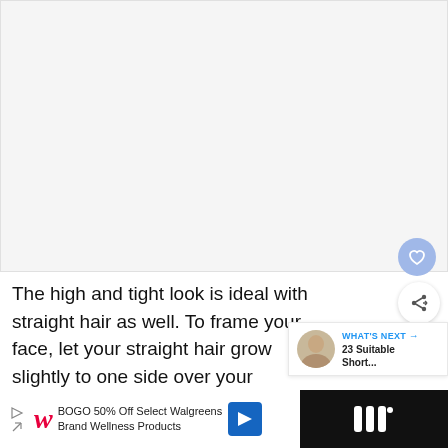[Figure (photo): Large image area (photo placeholder, appears white/blank in the document)]
The high and tight look is ideal with straight hair as well. To frame your face, let your straight hair grow slightly to one side over your forehead. Keep hair cropped close on the sides.
[Figure (screenshot): What's Next panel: thumbnail of woman with short hair, label 'WHAT'S NEXT →', text '23 Suitable Short...']
[Figure (infographic): Advertisement bar: Walgreens BOGO 50% Off Select Walgreens Brand Wellness Products, navigation arrow icon, dark right section]